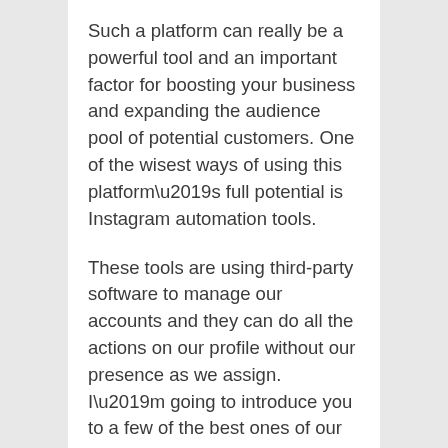Such a platform can really be a powerful tool and an important factor for boosting your business and expanding the audience pool of potential customers. One of the wisest ways of using this platform’s full potential is Instagram automation tools.
These tools are using third-party software to manage our accounts and they can do all the actions on our profile without our presence as we assign. I’m going to introduce you to a few of the best ones of our choice.
SocialPilot